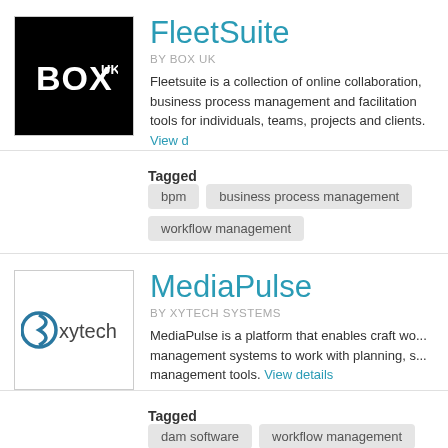[Figure (logo): BOX UK logo — white BOX text with UK superscript on black background]
FleetSuite
by BOX UK
Fleetsuite is a collection of online collaboration, business process management and facilitation tools for individuals, teams, projects and clients. View d...
Tagged  bpm  business process management  workflow management
[Figure (logo): Xytech logo — circular arrow icon with 'xytech' text]
MediaPulse
by XYTECH SYSTEMS
MediaPulse is a platform that enables craft wo... management systems to work with planning, s... management tools. View details
Tagged  dam software  workflow management